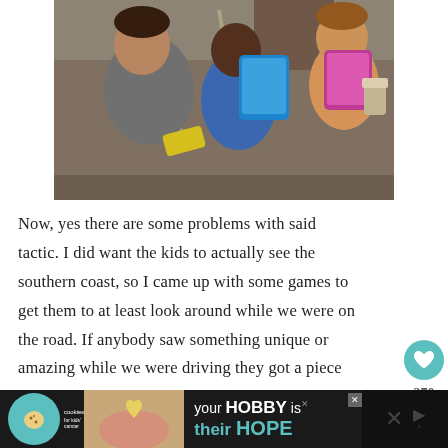[Figure (photo): Three children sitting in the back seat of a car, each playing with tablets or handheld devices. One child holds a yellow device, another holds a blue tablet, and a third holds a pink tablet. They are wearing seatbelts.]
Now, yes there are some problems with said tactic. I did want the kids to actually see the southern coast, so I came up with some games to get them to at least look around while we were on the road. If anybody saw something unique or amazing while we were driving they got a piece of candy. This
[Figure (infographic): Advertisement banner at the bottom: Cookies for Kids' Cancer charity ad with text 'your HOBBY is their HOPE' on a dark background.]